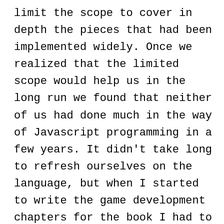limit the scope to cover in depth the pieces that had been implemented widely. Once we realized that the limited scope would help us in the long run we found that neither of us had done much in the way of Javascript programming in a few years. It didn't take long to refresh ourselves on the language, but when I started to write the game development chapters for the book I had to re-engineer all of the AS3 style game algorithms into Javascript as I had no existing library of code to use. This meant